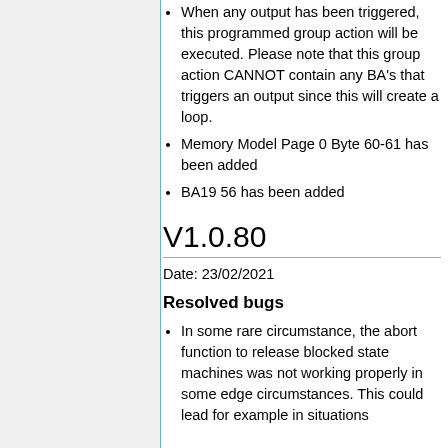When any output has been triggered, this programmed group action will be executed. Please note that this group action CANNOT contain any BA's that triggers an output since this will create a loop.
Memory Model Page 0 Byte 60-61 has been added
BA19 56 has been added
V1.0.80
Date: 23/02/2021
Resolved bugs
In some rare circumstance, the abort function to release blocked state machines was not working properly in some edge circumstances. This could lead for example in situations